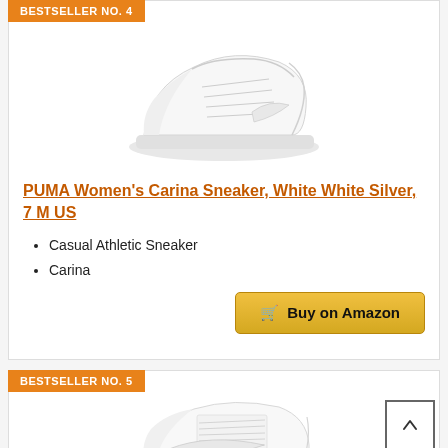BESTSELLER NO. 4
[Figure (photo): White PUMA Women's Carina Sneaker on white background]
PUMA Women's Carina Sneaker, White White Silver, 7 M US
Casual Athletic Sneaker
Carina
BESTSELLER NO. 5
[Figure (photo): White Nike Air Force 1 sneaker on white background]